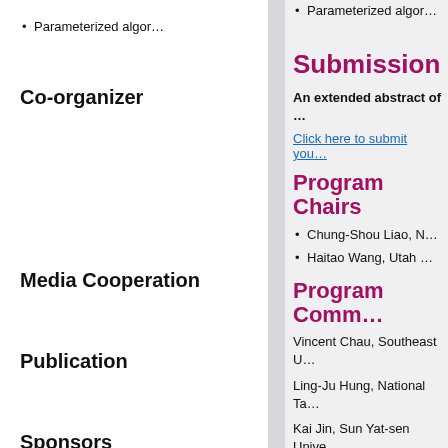Parameterized algor…
Co-organizer
Media Cooperation
Publication
Sponsors
Submission
An extended abstract of …
Click here to submit you…
Program Chairs
Chung-Shou Liao, N…
Haitao Wang, Utah …
Program Comm…
Vincent Chau, Southeast U…
Ling-Ju Hung, National Ta…
Kai Jin, Sun Yat-sen Unive…